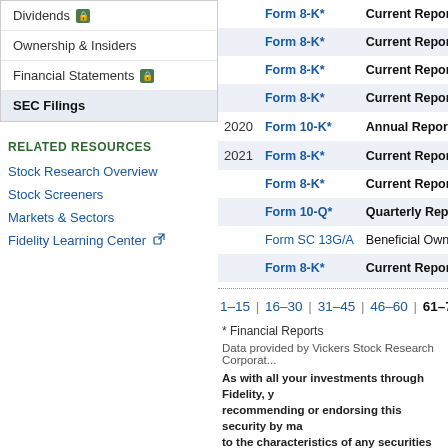Dividends
Ownership & Insiders
Financial Statements
SEC Filings
RELATED RESOURCES
Stock Research Overview
Stock Screeners
Markets & Sectors
Fidelity Learning Center
|  | Form | Description |
| --- | --- | --- |
|  | Form 8-K* | Current Report* |
|  | Form 8-K* | Current Report* |
|  | Form 8-K* | Current Report* |
|  | Form 8-K* | Current Report* |
| 2020 | Form 10-K* | Annual Report* |
| 2021 | Form 8-K* | Current Report* |
|  | Form 8-K* | Current Report* |
|  | Form 10-Q* | Quarterly Report* |
|  | Form SC 13G/A | Beneficial Owners |
|  | Form 8-K* | Current Report* |
1–15 | 16–30 | 31–45 | 46–60 | 61–75 | 76
* Financial Reports
Data provided by Vickers Stock Research Corporat...
As with all your investments through Fidelity, you recommending or endorsing this security by ma to the characteristics of any securities you inte similar document carefully for a full description for your investment objectives, risk tolerance, f basis.